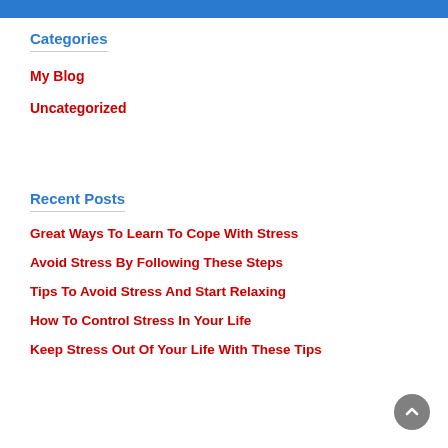Categories
My Blog
Uncategorized
Recent Posts
Great Ways To Learn To Cope With Stress
Avoid Stress By Following These Steps
Tips To Avoid Stress And Start Relaxing
How To Control Stress In Your Life
Keep Stress Out Of Your Life With These Tips